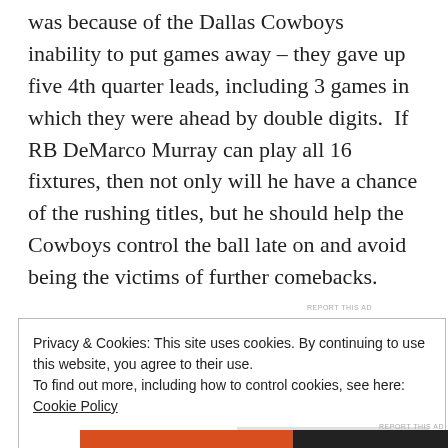was because of the Dallas Cowboys inability to put games away – they gave up five 4th quarter leads, including 3 games in which they were ahead by double digits.  If RB DeMarco Murray can play all 16 fixtures, then not only will he have a chance of the rushing titles, but he should help the Cowboys control the ball late on and avoid being the victims of further comebacks.
[Figure (other): Advertisement banner with dark background showing 'course with WordPress' text in teal and 'Learn More' link in white]
REPORT THIS AD
Privacy & Cookies: This site uses cookies. By continuing to use this website, you agree to their use.
To find out more, including how to control cookies, see here: Cookie Policy
Close and accept